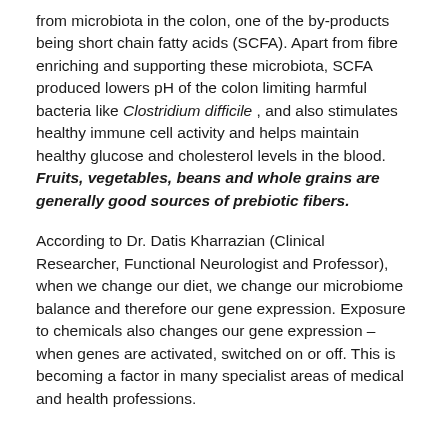from microbiota in the colon, one of the by-products being short chain fatty acids (SCFA). Apart from fibre enriching and supporting these microbiota, SCFA produced lowers pH of the colon limiting harmful bacteria like Clostridium difficile , and also stimulates healthy immune cell activity and helps maintain healthy glucose and cholesterol levels in the blood. Fruits, vegetables, beans and whole grains are generally good sources of prebiotic fibers.
According to Dr. Datis Kharrazian (Clinical Researcher, Functional Neurologist and Professor), when we change our diet, we change our microbiome balance and therefore our gene expression. Exposure to chemicals also changes our gene expression – when genes are activated, switched on or off. This is becoming a factor in many specialist areas of medical and health professions.